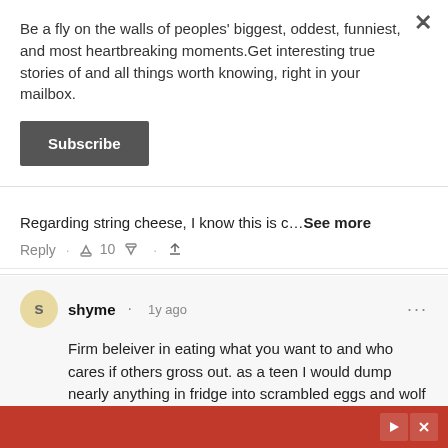Be a fly on the walls of peoples' biggest, oddest, funniest, and most heartbreaking moments.Get interesting true stories of and all things worth knowing, right in your mailbox.
Subscribe
Regarding string cheese, I know this is c...See more
Reply · 👍 10 👎 · ⬆
shyme · 1y ago
Firm beleiver in eating what you want to and who cares if others gross out. as a teen I would dump nearly anything in fridge into scrambled eggs and wolf it down, one fav was saurkraute another was canned pork and beans experimented with m...See more
Reply · 👍 18 👎 2 · ⬆
[Figure (screenshot): Red advertisement banner at the bottom with play and close icons]